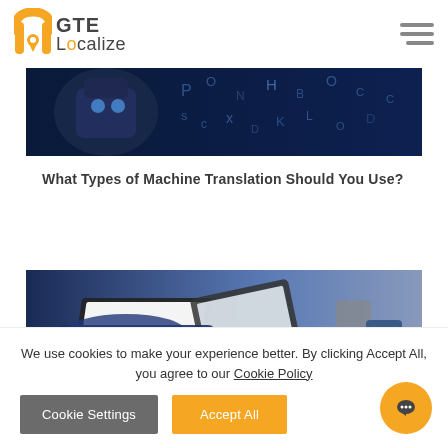GTE Localize
[Figure (photo): Robot or AI figure with floating letters/characters on dark blue background]
What Types of Machine Translation Should You Use?
[Figure (photo): Person in suit typing on laptop at desk with tablet, phone and coffee mug]
We use cookies to make your experience better. By clicking Accept All, you agree to our Cookie Policy
Cookie Settings
Accept All